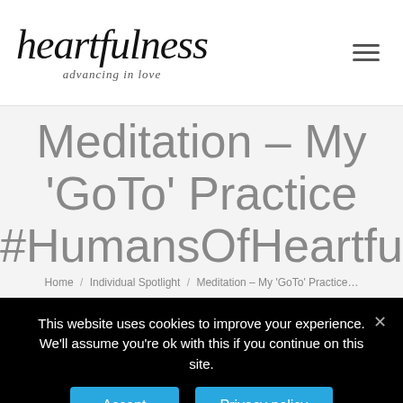heartfulness advancing in love
Meditation – My 'GoTo' Practice #HumansOfHeartfu
Home / Individual Spotlight / Meditation – My 'GoTo' Practice...
This website uses cookies to improve your experience. We'll assume you're ok with this if you continue on this site.
Accept  Privacy policy